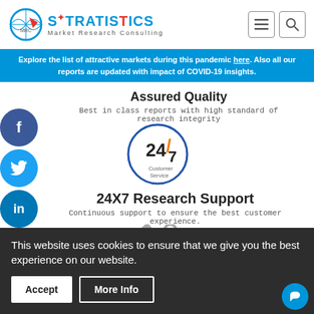[Figure (logo): Stratistics Market Research Consulting logo with globe icon]
Explore the list of attractive markets during this pandemic here. Also all our reports are updated with impact of COVID-19 insights.
Assured Quality
Best in class reports with high standard of research integrity
[Figure (illustration): 24/7 Customer Service badge - circular badge with 24/7 text]
24X7 Research Support
Continuous support to ensure the best customer experience.
[Figure (illustration): Crossed hammer and wrench tools icon]
Free Customization
Providing a secured environment for all online transactions.
This website uses cookies to ensure that we give you the best experience on our website.